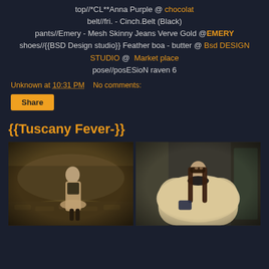top//*CL**Anna Purple @ chocolat
belt//fri. - Cinch.Belt (Black)
pants//Emery - Mesh Skinny Jeans Verve Gold @EMERY
shoes//{{BSD Design studio}} Feather boa - butter @ Bsd DESIGN STUDIO @  Market place
pose//posESioN raven 6
Unknown at 10:31 PM    No comments:
Share
{{Tuscany Fever-}}
[Figure (photo): Two fashion photos side by side on dark background. Left: a woman in a beige/tan outfit standing on cobblestones in a misty alley setting. Right: a woman in a large flowing beige/cream cape with long dark hair.]